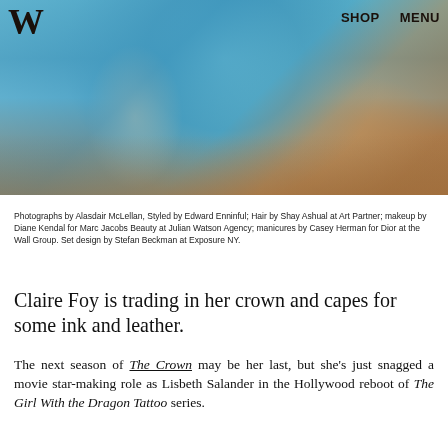W  SHOP  MENU
[Figure (photo): Fashion editorial photo showing a person seated on an ornate floral-patterned sofa wearing a blue satin dress, with bare freckled arms and a bracelet visible]
Photographs by Alasdair McLellan, Styled by Edward Enninful; Hair by Shay Ashual at Art Partner; makeup by Diane Kendal for Marc Jacobs Beauty at Julian Watson Agency; manicures by Casey Herman for Dior at the Wall Group. Set design by Stefan Beckman at Exposure NY.
Claire Foy is trading in her crown and capes for some ink and leather.
The next season of The Crown may be her last, but she's just snagged a movie star-making role as Lisbeth Salander in the Hollywood reboot of The Girl With the Dragon Tattoo series.